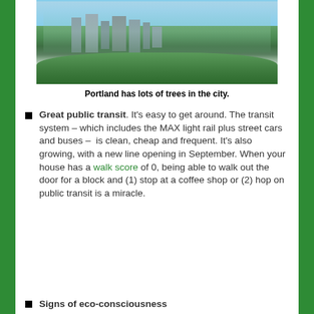[Figure (photo): Aerial/elevated view of Portland city skyline with tall buildings surrounded by many trees, mountains in background, blue sky]
Portland has lots of trees in the city.
Great public transit. It's easy to get around. The transit system – which includes the MAX light rail plus street cars and buses – is clean, cheap and frequent. It's also growing, with a new line opening in September. When your house has a walk score of 0, being able to walk out the door for a block and (1) stop at a coffee shop or (2) hop on public transit is a miracle.
Signs of eco-consciousness